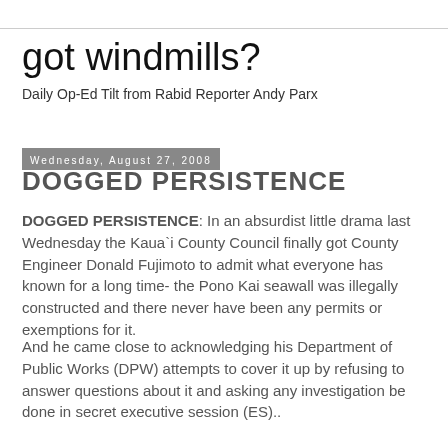got windmills?
Daily Op-Ed Tilt from Rabid Reporter Andy Parx
Wednesday, August 27, 2008
DOGGED PERSISTENCE
DOGGED PERSISTENCE: In an absurdist little drama last Wednesday the Kaua`i County Council finally got County Engineer Donald Fujimoto to admit what everyone has known for a long time- the Pono Kai seawall was illegally constructed and there never have been any permits or exemptions for it.
And he came close to acknowledging his Department of Public Works (DPW) attempts to cover it up by refusing to answer questions about it and asking any investigation be done in secret executive session (ES)..